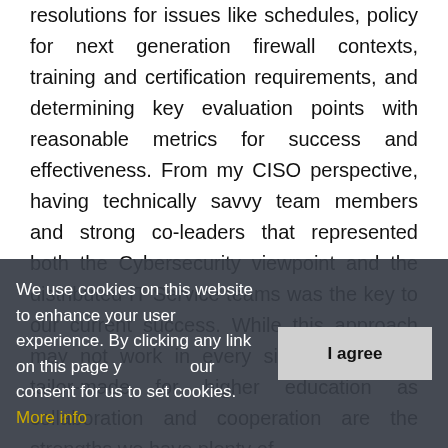resolutions for issues like schedules, policy for next generation firewall contexts, training and certification requirements, and determining key evaluation points with reasonable metrics for success and effectiveness. From my CISO perspective, having technically savvy team members and strong co-leaders that represented both the Cybersecurity viewpoint and the distributed IT Service teams was the key to our current success. While this approach may not work in every situation, is was tailor-made for higher education as collaboration and cooperation are the strengths we have plenty of.

We divided the work into 17 initiatives, some standalone and some others did drive some that
We use cookies on this website to enhance your user experience. By clicking any link on this page you give your consent for us to set cookies. More info